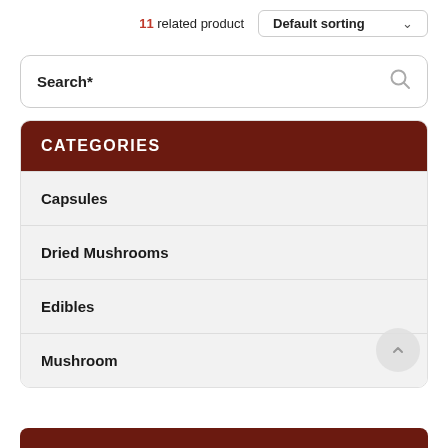11 related product
Default sorting
Search*
CATEGORIES
Capsules
Dried Mushrooms
Edibles
Mushroom